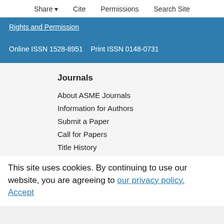Share  Cite  Permissions  Search Site
Rights and Permission
Online ISSN 1528-8951    Print ISSN 0148-0731
Journals
About ASME Journals
Information for Authors
Submit a Paper
Call for Papers
Title History
Conference Proceedings
This site uses cookies. By continuing to use our website, you are agreeing to our privacy policy.
Accept
Publications and Proceedings
Conference Proceedings